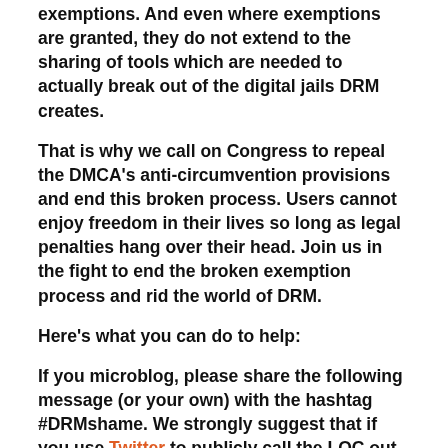exemptions. And even where exemptions are granted, they do not extend to the sharing of tools which are needed to actually break out of the digital jails DRM creates.
That is why we call on Congress to repeal the DMCA's anti-circumvention provisions and end this broken process. Users cannot enjoy freedom in their lives so long as legal penalties hang over their head. Join us in the fight to end the broken exemption process and rid the world of DRM.
Here's what you can do to help:
If you microblog, please share the following message (or your own) with the hashtag #DRMshame. We strongly suggest that if you use Twitter to publicly call the LOC out, you do it in a way that avoids using proprietary software:
The DMCA exemption process is broken beyond repair,